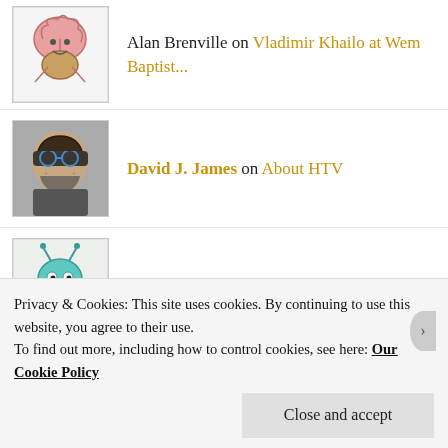Alan Brenville on Vladimir Khailo at Wem Baptist...
David J. James on About HTV
TTEnglish on About HTV
HULIGANOV TV'S COMMUNITY
[Figure (photo): Community member avatar strip showing various profile images including food, cartoon characters, people, and landscapes]
Privacy & Cookies: This site uses cookies. By continuing to use this website, you agree to their use. To find out more, including how to control cookies, see here: Our Cookie Policy